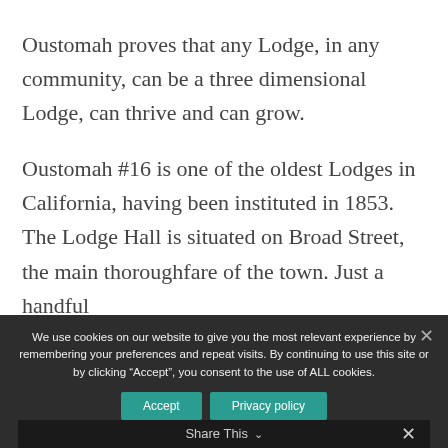Oustomah proves that any Lodge, in any community, can be a three dimensional Lodge, can thrive and can grow.
Oustomah #16 is one of the oldest Lodges in California, having been instituted in 1853. The Lodge Hall is situated on Broad Street, the main thoroughfare of the town. Just a handful of…
We use cookies on our website to give you the most relevant experience by remembering your preferences and repeat visits. By continuing to use this site or by clicking “Accept”, you consent to the use of ALL cookies.
Share This